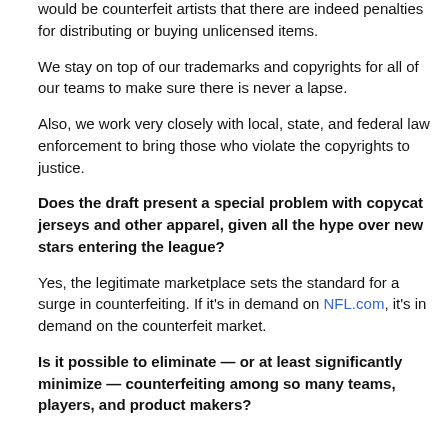would be counterfeit artists that there are indeed penalties for distributing or buying unlicensed items.
We stay on top of our trademarks and copyrights for all of our teams to make sure there is never a lapse.
Also, we work very closely with local, state, and federal law enforcement to bring those who violate the copyrights to justice.
Does the draft present a special problem with copycat jerseys and other apparel, given all the hype over new stars entering the league?
Yes, the legitimate marketplace sets the standard for a surge in counterfeiting. If it's in demand on NFL.com, it's in demand on the counterfeit market.
Is it possible to eliminate — or at least significantly minimize — counterfeiting among so many teams, players, and product makers?